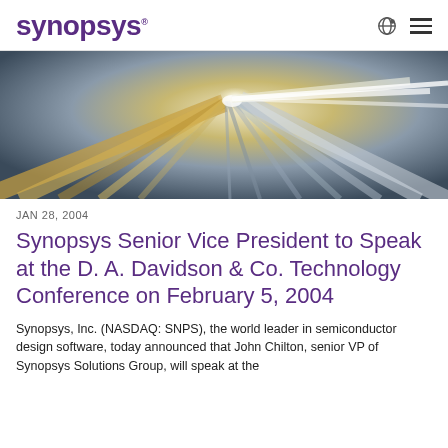SYNOPSYS
[Figure (photo): Abstract motion blur image with streaks of gold, silver, and blue light converging toward a bright center point, suggesting speed or technology.]
JAN 28, 2004
Synopsys Senior Vice President to Speak at the D. A. Davidson & Co. Technology Conference on February 5, 2004
Synopsys, Inc. (NASDAQ: SNPS), the world leader in semiconductor design software, today announced that John Chilton, senior VP of Synopsys Solutions Group, will speak at the